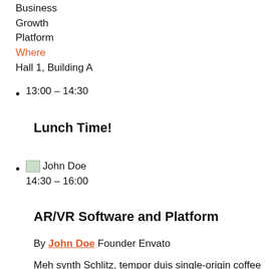Business
Growth
Platform
Where
Hall 1, Building A
13:00 - 14:30
Lunch Time!
[John Doe image] 14:30 - 16:00
AR/VR Software and Platform
By John Doe Founder Envato
Meh synth Schlitz, tempor duis single-origin coffee ea next level ethnic fingerstache fanny pack